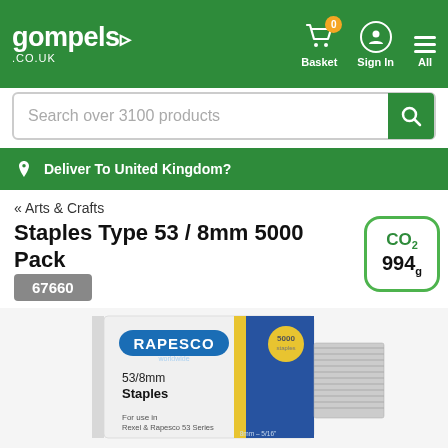gompels .co.uk — Basket (0), Sign In, All
Search over 3100 products
Deliver To United Kingdom?
« Arts & Crafts
Staples Type 53 / 8mm 5000 Pack
CO2 994g
67660
[Figure (photo): Rapesco brand box of 53/8mm Staples, 5000 pack, shown with staples visible on the right side of box]